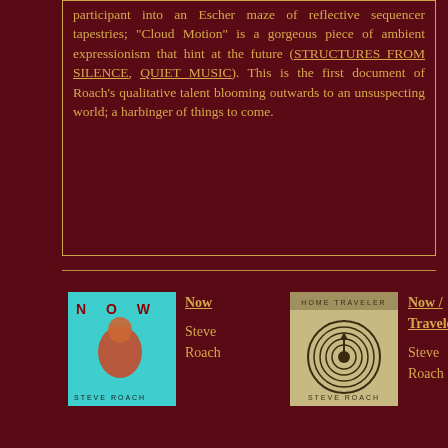participant into an Escher maze of reflective sequencer tapestries; "Cloud Motion" is a gorgeous piece of ambient expressionism that hint at the future (STRUCTURES FROM SILENCE, QUIET MUSIC). This is the first document of Roach's qualitative talent blooming outwards to an unsuspecting world; a harbinger of things to come.
[Figure (illustration): Album cover for 'Now' by Steve Roach — teal background with figure and 'NOW' text]
Now
Steve Roach
[Figure (illustration): Album cover for 'Now / Traveler' by Steve Roach — tan/beige background with circular maze/labyrinth design]
Now / Traveler
Steve Roach